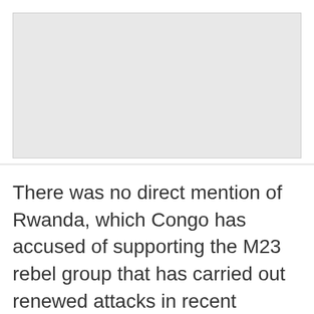[Figure (photo): Placeholder image area, light gray background]
There was no direct mention of Rwanda, which Congo has accused of supporting the M23 rebel group that has carried out renewed attacks in recent months. The statement noted the “presence of foreign negative elements” as a critical issue. Rwanda has long denied supporting the M23 rebels, who captured a key town in eastern Congo last